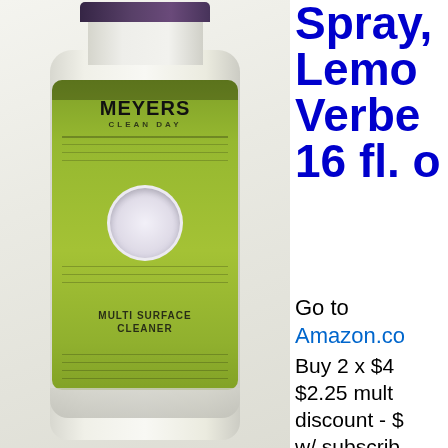[Figure (photo): Mrs. Meyer's Clean Day multi-surface spray bottle with lemon verbena scent, green label, partially cropped product photo on left side of image]
Spray, Lemon Verbena, 16 fl. oz
Go to Amazon.co Buy 2 x $4 $2.25 mult discount - $ w/ subscrib